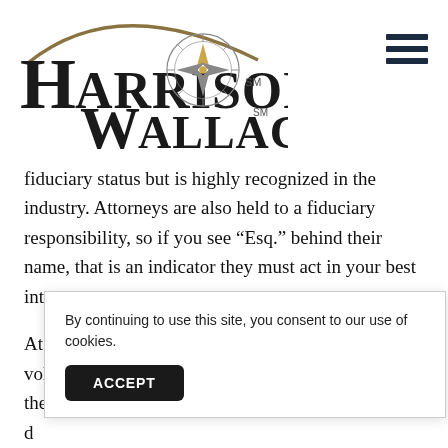[Figure (logo): Harrison Wallace logo with compass rose graphic and decorative arc above text]
fiduciary status but is highly recognized in the industry. Attorneys are also held to a fiduciary responsibility, so if you see “Esq.” behind their name, that is an indicator they must act in your best interest.
At the end of the day, the advisor you choose should voluntarily tell you they act in your best interests. If they d... d... y...
By continuing to use this site, you consent to our use of cookies.
ACCEPT